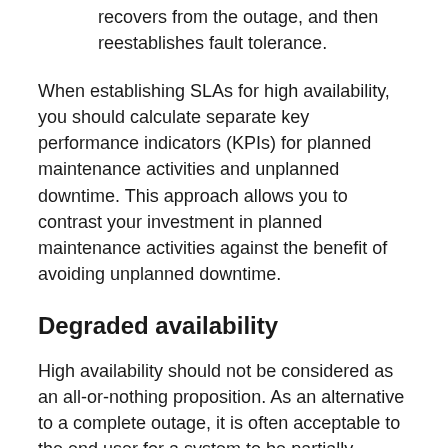recovers from the outage, and then reestablishes fault tolerance.
When establishing SLAs for high availability, you should calculate separate key performance indicators (KPIs) for planned maintenance activities and unplanned downtime. This approach allows you to contrast your investment in planned maintenance activities against the benefit of avoiding unplanned downtime.
Degraded availability
High availability should not be considered as an all-or-nothing proposition. As an alternative to a complete outage, it is often acceptable to the end user for a system to be partially available, or to have limited functionality or degraded performance. These varying degrees of availability include: